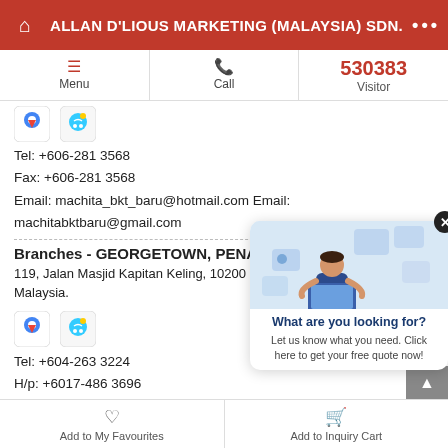ALLAN D'LIOUS MARKETING (MALAYSIA) SDN. BHD
Menu | Call | 530383 Visitor
Tel: +606-281 3568
Fax: +606-281 3568
Email: machita_bkt_baru@hotmail.com  Email: machitabktbaru@gmail.com
Branches - GEORGETOWN, PENANG
119, Jalan Masjid Kapitan Keling, 10200 Georgetown, Penang, Malaysia.
Tel: +604-263 3224
H/p: +6017-486 3696
Fax: +604-263 3225
Email: anhsmartventure@gmail.com
Branches - PUCHONG, SELANGOR
29, Jalan Du1/2, Taman Damai Utama, Bandar Kinrara, Selangor, Malaysia.
[Figure (illustration): Popup overlay with illustration of person at laptop with floating app icons, blue tones]
What are you looking for?
Let us know what you need. Click here to get your free quote now!
Add to My Favourites | Add to Inquiry Cart